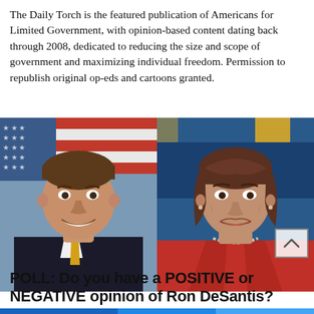The Daily Torch is the featured publication of Americans for Limited Government, with opinion-based content dating back through 2008, dedicated to reducing the size and scope of government and maximizing individual freedom. Permission to republish original op-eds and cartoons granted.
[Figure (photo): Side-by-side photos: left shows a smiling man in a dark suit with yellow tie in front of an American flag; right shows a woman in a red jacket speaking at a podium in front of a blue background with gold accents.]
POLL: Do you have a POSITIVE or NEGATIVE opinion of Ron DeSantis?